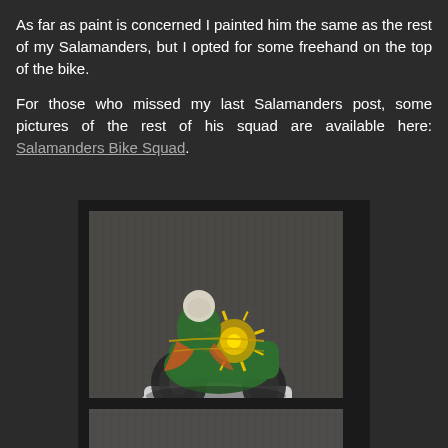As far as paint is concerned I painted him the same as the rest of my Salamanders, but I opted for some freehand on the top of the bike.
For those who missed my last Salamanders post, some pictures of the rest of his squad are available here: Salamanders Bike Squad.
[Figure (photo): A painted Warhammer 40K Salamanders Space Marine biker miniature, viewed from behind. The miniature is green with orange and gold details, mounted on a motorcycle on a grey base. A sunburst freehand design is visible on top of the bike. The background is a grey textured surface.]
[Figure (photo): Partial view of another painted miniature, cropped at the bottom of the page, showing a grey textured background.]